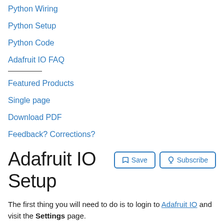Python Wiring
Python Setup
Python Code
Adafruit IO FAQ
Featured Products
Single page
Download PDF
Feedback? Corrections?
Adafruit IO Setup
The first thing you will need to do is to login to Adafruit IO and visit the Settings page.